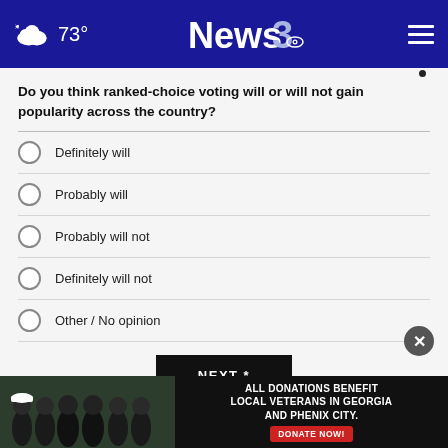News 3 | 73°
Do you think ranked-choice voting will or will not gain popularity across the country?
Definitely will
Probably will
Probably will not
Definitely will not
Other / No opinion
NEXT *
* By clicking "NEXT" you agree to the following: We use cookies to track your survey answers. If you would like to continue with this survey please read and agree to the CivicScience Privacy Policy and Terms of Service
[Figure (photo): Advertisement banner: Group photo of people in matching dark shirts with text 'ALL DONATIONS BENEFIT LOCAL VETERANS IN GEORGIA AND PHENIX CITY.' with a red DONATE NOW button]